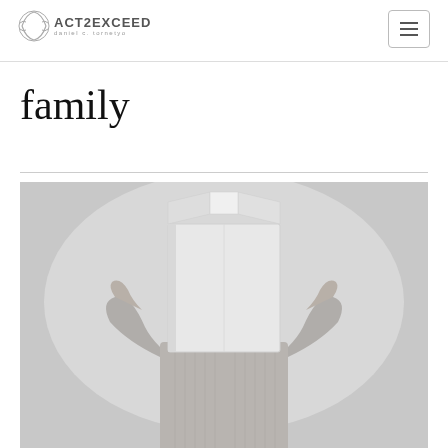ACT2EXCEED
family
[Figure (photo): Black and white photograph of a person holding a large cardboard box over their head, obscuring their face. The person is wearing a light-colored button-up shirt and has their arms raised holding the box. The background is a plain light gray.]